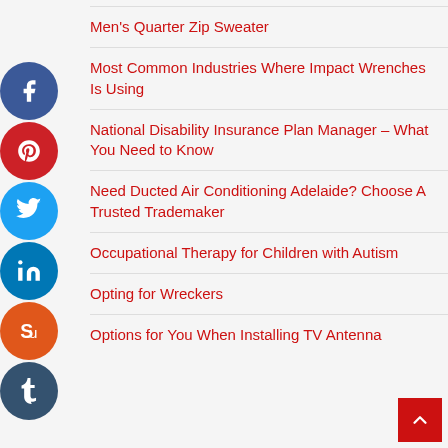Men's Quarter Zip Sweater
Most Common Industries Where Impact Wrenches Is Using
National Disability Insurance Plan Manager – What You Need to Know
Need Ducted Air Conditioning Adelaide? Choose A Trusted Trademaker
Occupational Therapy for Children with Autism
Opting for Wreckers
Options for You When Installing TV Antenna